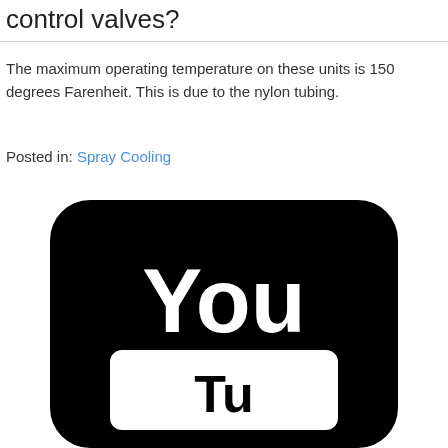control valves?
The maximum operating temperature on these units is 150 degrees Farenheit. This is due to the nylon tubing.
Posted in: Spray Cooling
[Figure (logo): YouTube logo in black and white — black rounded rectangle with 'You' text visible at top and partial 'Tube' text below]